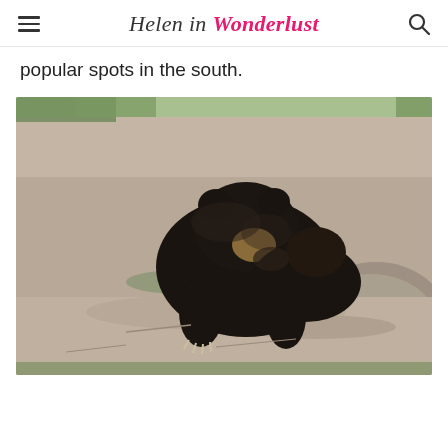Helen in Wonderlust
popular spots in the south.
[Figure (photo): A black sloth bear walking on rocky terrain with boulders in the background.]